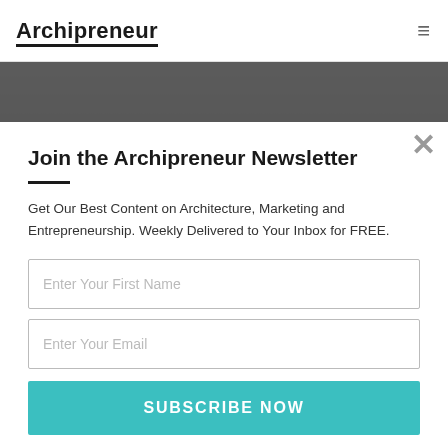Archipreneur
[Figure (photo): Partial photo of a person in dark clothing, architectural background]
Join the Archipreneur Newsletter
Get Our Best Content on Architecture, Marketing and Entrepreneurship. Weekly Delivered to Your Inbox for FREE.
Enter Your First Name
Enter Your Email
SUBSCRIBE NOW